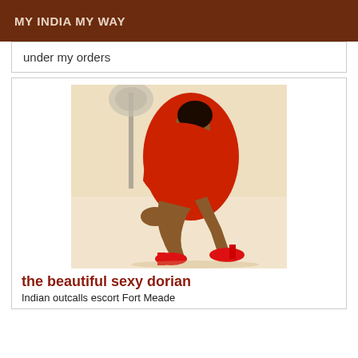MY INDIA MY WAY
under my orders
[Figure (photo): A woman in a red dress and red high heels sitting on a floor near a fan]
the beautiful sexy dorian
Indian outcalls escort Fort Meade